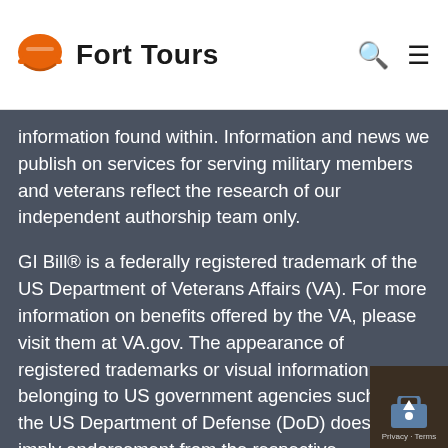Fort Tours
information found within. Information and news we publish on services for serving military members and veterans reflect the research of our independent authorship team only.
GI Bill® is a federally registered trademark of the US Department of Veterans Affairs (VA). For more information on benefits offered by the VA, please visit them at VA.gov. The appearance of registered trademarks or visual information belonging to US government agencies such as as the US Department of Defense (DoD) does not imply endorsement from the respective